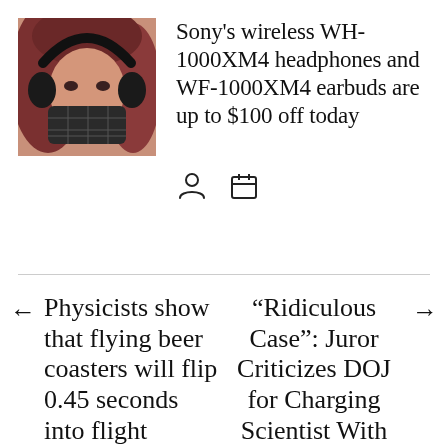[Figure (photo): Photo of a person wearing black over-ear Sony WH-1000XM4 headphones and a black plaid face mask, with reddish-brown hair]
Sony’s wireless WH-1000XM4 headphones and WF-1000XM4 earbuds are up to $100 off today
[author icon] [calendar icon]
← Physicists show that flying beer coasters will flip 0.45 seconds into flight
“Ridiculous Case”: Juror Criticizes DOJ for Charging Scientist With Hiding Ties to China →